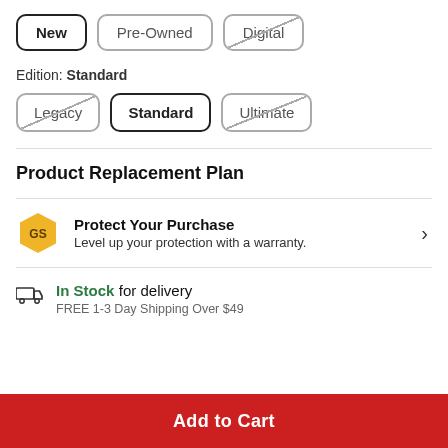New | Pre-Owned | Digital (condition selector buttons)
Edition: Standard
Legacy | Standard | Ultimate (edition selector buttons)
Product Replacement Plan
Protect Your Purchase
Level up your protection with a warranty.
In Stock for delivery
FREE 1-3 Day Shipping Over $49
Add to Cart